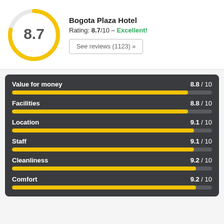[Figure (other): Yellow circular score badge showing 8.7]
Bogota Plaza Hotel
Rating: 8.7/10 – Excellent!
See reviews (1123) »
[Figure (bar-chart): Category Ratings]